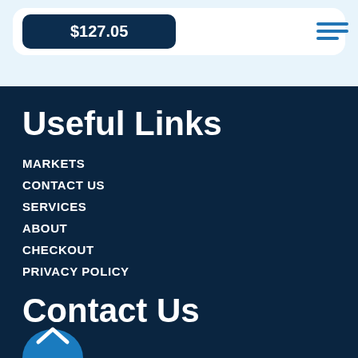$127.05
Useful Links
MARKETS
CONTACT US
SERVICES
ABOUT
CHECKOUT
PRIVACY POLICY
Contact Us